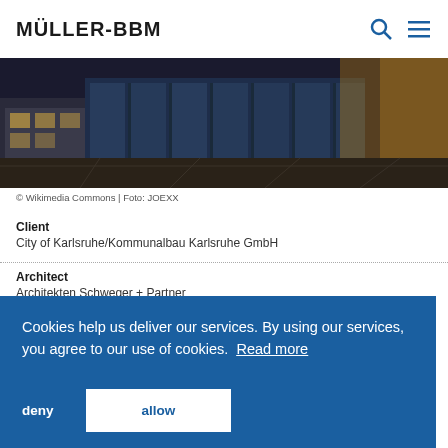MÜLLER-BBM
[Figure (photo): Night photograph of a modern building with glass facade and illuminated plaza, Karlsruhe]
© Wikimedia Commons | Foto: JOEXX
Client
City of Karlsruhe/Kommunalbau Karlsruhe GmbH
Architect
Architekten Schweger + Partner
Cookies help us deliver our services. By using our services, you agree to our use of cookies.  Read more
deny   allow